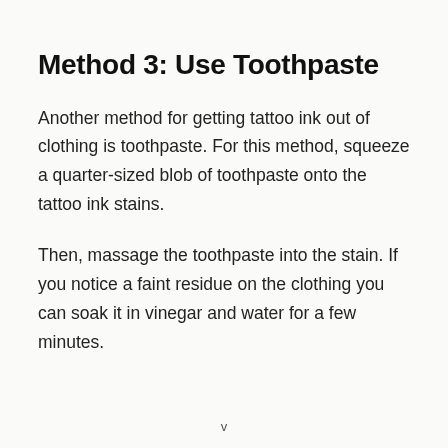Method 3: Use Toothpaste
Another method for getting tattoo ink out of clothing is toothpaste. For this method, squeeze a quarter-sized blob of toothpaste onto the tattoo ink stains.
Then, massage the toothpaste into the stain. If you notice a faint residue on the clothing you can soak it in vinegar and water for a few minutes.
v